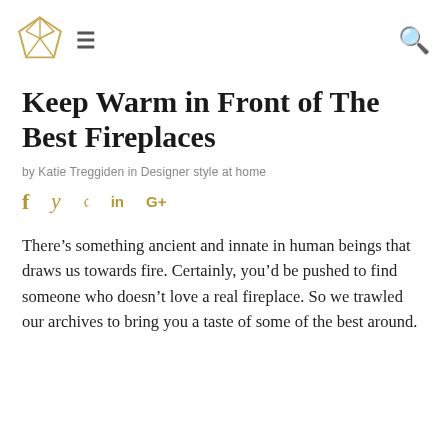[logo] [hamburger menu] [search]
Keep Warm in Front of The Best Fireplaces
by Katie Treggiden in Designer style at home
f  y  p  in  G+
There’s something ancient and innate in human beings that draws us towards fire. Certainly, you’d be pushed to find someone who doesn’t love a real fireplace. So we trawled our archives to bring you a taste of some of the best around.